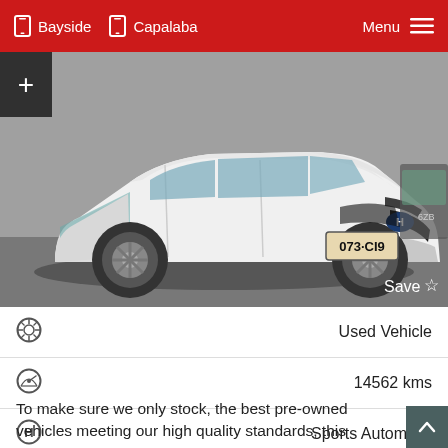Bayside   Capalaba   Menu
[Figure (photo): White Hyundai i30 hatchback photographed front-on in a car dealership lot, license plate 073·CI9]
Save ☆
Used Vehicle
14562 kms
Sports Automatic
Hatch
To make sure we only stock, the best pre-owned vehicles meeting our high quality standards, this vehicle has had a 140 point quality...